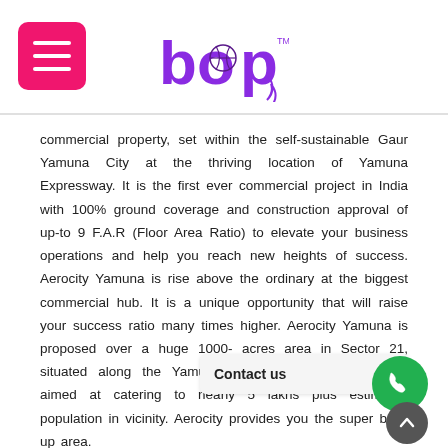bop logo and menu button
commercial property, set within the self-sustainable Gaur Yamuna City at the thriving location of Yamuna Expressway. It is the first ever commercial project in India with 100% ground coverage and construction approval of up-to 9 F.A.R (Floor Area Ratio) to elevate your business operations and help you reach new heights of success. Aerocity Yamuna is rise above the ordinary at the biggest commercial hub. It is a unique opportunity that will raise your success ratio many times higher. Aerocity Yamuna is proposed over a huge 1000- acres area in Sector 21, situated along the Yamuna City. Aerocity Yamuna city aimed at catering to nearly 5 lakhs plus estimated population in vicinity. Aerocity provides you the super build up area.
YEIDA (Yamuna Expressway Industrial Development Authority) has the largest industrial land bank in the country